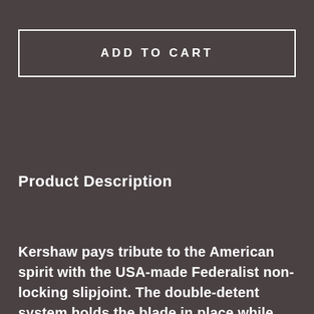ADD TO CART
Product Description
Kershaw pays tribute to the American spirit with the USA-made Federalist non-locking slipjoint. The double-detent system holds the blade in place while closed, and the half-stop